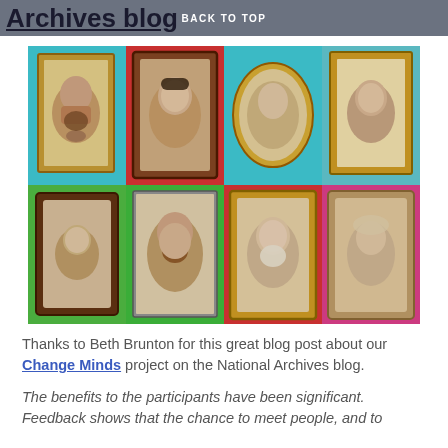Archives blog  BACK TO TOP
[Figure (photo): A 2x4 grid of antique portrait photographs, each in ornate frames, displayed on colorful backgrounds (teal, red, green, magenta). Eight Victorian-era portrait photographs in gilded and wooden frames.]
Thanks to Beth Brunton for this great blog post about our Change Minds project on the National Archives blog.
The benefits to the participants have been significant. Feedback shows that the chance to meet people, and to